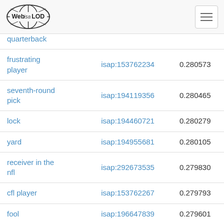Web isa LOD
| term | isap id | score |
| --- | --- | --- |
| quarterback |  |  |
| frustrating player | isap:153762234 | 0.280573 |
| seventh-round pick | isap:194119356 | 0.280465 |
| lock | isap:194460721 | 0.280279 |
| yard | isap:194955681 | 0.280105 |
| receiver in the nfl | isap:292673535 | 0.279830 |
| cfl player | isap:153762267 | 0.279793 |
| fool | isap:196647839 | 0.279601 |
| pleasant surprise | isap:293390911 | 0.279598 |